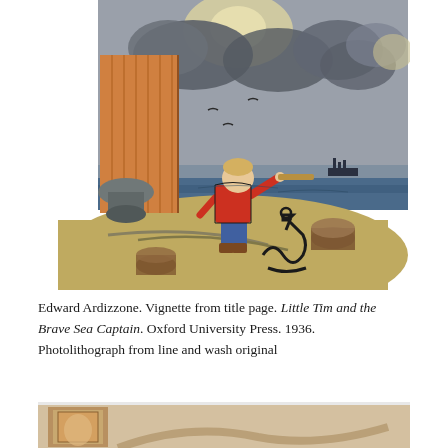[Figure (illustration): Watercolor and line illustration by Edward Ardizzone showing a small boy standing on a dock/quay looking through a telescope out to sea. Behind him is a wooden shed/hut. On the ground around him are an anchor, ropes, a bucket, and a bollard. A ship is visible on the horizon. The sky is stormy with dark clouds and a bright moon or sun partially obscured.]
Edward Ardizzone. Vignette from title page. Little Tim and the Brave Sea Captain. Oxford University Press. 1936. Photolithograph from line and wash original
[Figure (photo): Partial photograph of what appears to be a book or framed artwork, cut off at the bottom of the page.]